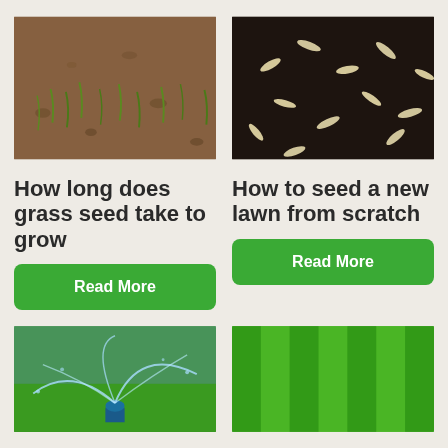[Figure (photo): Close-up photo of grass seedlings sprouting from brown soil]
[Figure (photo): Close-up photo of grass seeds scattered on dark soil]
How long does grass seed take to grow
How to seed a new lawn from scratch
Read More
Read More
[Figure (photo): Photo of a lawn sprinkler spraying water on green grass]
[Figure (photo): Photo of striped green lawn mowed in parallel lines]